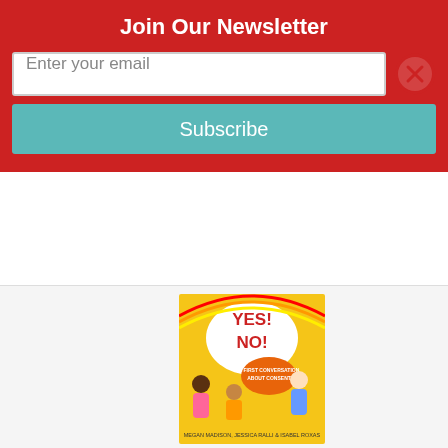Join Our Newsletter
Enter your email
Subscribe
[Figure (illustration): Book cover: Yes! No!: A First Conversation About Consent — colorful children's book with kids illustrated on yellow background]
Yes! No!: A First Conversation About Conse…
By Megan Madison, Jessica Ralli, Isabel Ro…
$14.99
Add to Cart
Add to Wish List
On Our Shelves Now. Please call our store fo…
[Figure (illustration): Partial book cover: A Kid's Guide to — dark background with space/stars theme, partially visible]